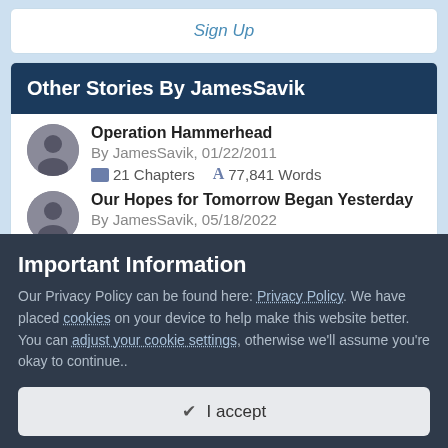Sign Up
Other Stories By JamesSavik
Operation Hammerhead
By JamesSavik, 01/22/2011
21 Chapters   77,841 Words
Our Hopes for Tomorrow Began Yesterday
By JamesSavik, 05/18/2022
3 Chapters   1,469 Words
Important Information
Our Privacy Policy can be found here: Privacy Policy. We have placed cookies on your device to help make this website better. You can adjust your cookie settings, otherwise we'll assume you're okay to continue..
✓  I accept